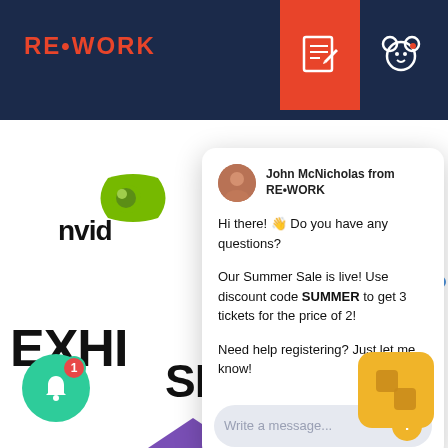RE•WORK
[Figure (screenshot): Chat popup from John McNicholas from RE•WORK with greeting and Summer Sale discount message]
John McNicholas from RE•WORK
Hi there! 👋 Do you have any questions?
Our Summer Sale is live! Use discount code SUMMER to get 3 tickets for the price of 2!
Need help registering? Just let me know!
Write a message...
EXHI
SHOWCASE